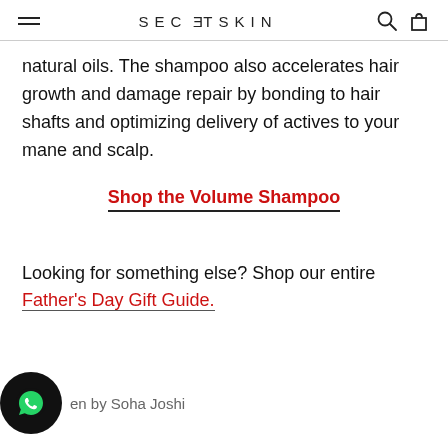SECRETSKIN
natural oils. The shampoo also accelerates hair growth and damage repair by bonding to hair shafts and optimizing delivery of actives to your mane and scalp.
Shop the Volume Shampoo
Looking for something else? Shop our entire Father's Day Gift Guide.
en by Soha Joshi